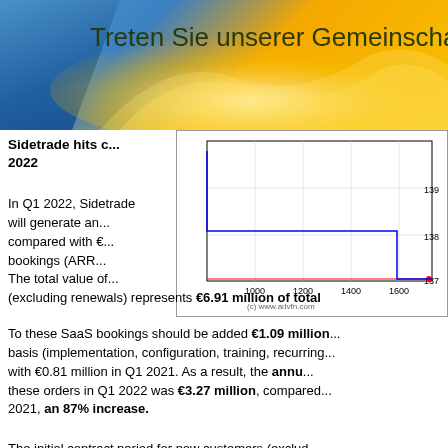Treten Sie unserer Gemeinschaft bei
Sidetrade hits c... 2022
[Figure (continuous-plot): Stock price chart showing a step-down line from approximately 139 to 137, with a flat red baseline around 137. X-axis ranges from ~800 to 1700, Y-axis from 137 to 139. Source: (c) www.advfn.com]
In Q1 2022, Sidetrade will generate an... compared with €... bookings (ARR... The total value of... (excluding renewals) represents €6.91 million of total...
To these SaaS bookings should be added €1.09 million... basis (implementation, configuration, training, recurring... with €0.81 million in Q1 2021. As a result, the annual... these orders in Q1 2022 was €3.27 million, compared... 2021, an 87% increase.
The initial contract period for new customers (excluding... months, compared with 36.3 months in the same...